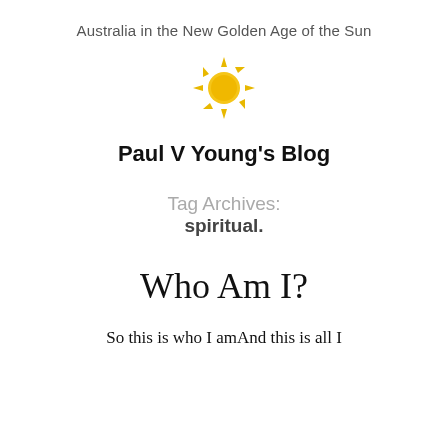Australia in the New Golden Age of the Sun
[Figure (illustration): Sun emoji icon - yellow sun with rays]
Paul V Young's Blog
Tag Archives:
spiritual.
Who Am I?
So this is who I amAnd this is all I